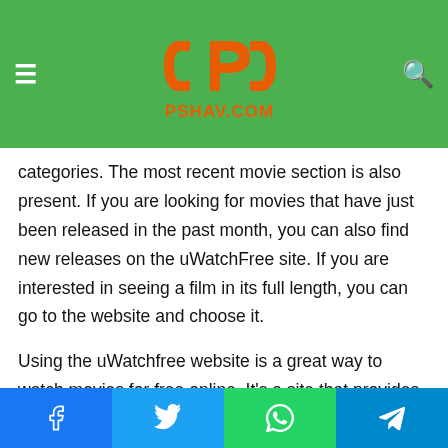PSHAV.COM — navigation header with logo and search
You can browse through the categories and watch movies that want to download. Most recently watched movies are displayed on the Free website's most popular categories. The most recent movie section is also present. If you are looking for movies that have just been released in the past month, you can also find new releases on the uWatchFree site. If you are interested in seeing a film in its full length, you can go to the website and choose it.
Using the uWatchfree website is a great way to watch movies for free online. It's a site that provides HD content. There's no need to register and the site automatically sends you updates whenever a new film is released. It's safe to download movies from uWatchfree, even if it's illegal. In addition to downloading Bollywood and Hollywood movies, the site also allows you to watch old films.
Share buttons: Facebook, Twitter, WhatsApp, Telegram